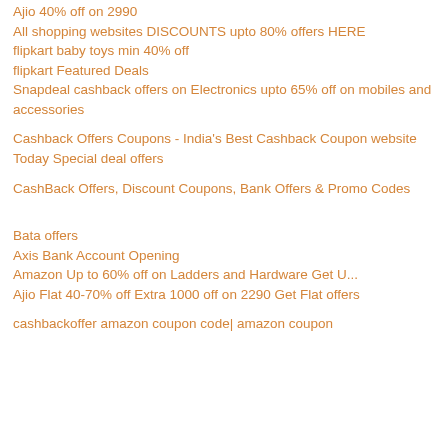Ajio 40% off on 2990
All shopping websites DISCOUNTS upto 80% offers HERE
flipkart baby toys min 40% off
flipkart Featured Deals
Snapdeal cashback offers on Electronics upto 65% off on mobiles and accessories
Cashback Offers Coupons - India's Best Cashback Coupon website
Today Special deal offers
CashBack Offers, Discount Coupons, Bank Offers & Promo Codes
Bata offers
Axis Bank Account Opening
Amazon Up to 60% off on Ladders and Hardware Get U...
Ajio Flat 40-70% off Extra 1000 off on 2290 Get Flat offers
cashbackoffer amazon coupon code| amazon coupon